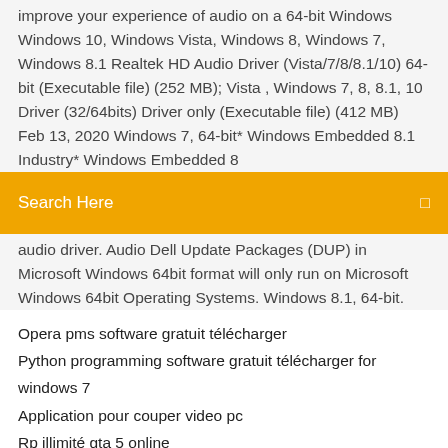improve your experience of audio on a 64-bit Windows Windows 10, Windows Vista, Windows 8, Windows 7, Windows 8.1 Realtek HD Audio Driver (Vista/7/8/8.1/10) 64-bit (Executable file) (252 MB); Vista , Windows 7, 8, 8.1, 10 Driver (32/64bits) Driver only (Executable file) (412 MB)  Feb 13, 2020 Windows 7, 64-bit* Windows Embedded 8.1 Industry* Windows Embedded 8
Search Here
audio driver. Audio Dell Update Packages (DUP) in Microsoft Windows 64bit format will only run on Microsoft Windows 64bit Operating Systems. Windows 8.1, 64-bit.
Opera pms software gratuit télécharger
Python programming software gratuit télécharger for windows 7
Application pour couper video pc
Rp illimité gta 5 online
Jeux de voiture gratuit de course poursuite
Movie maker windows 8 64 bit télécharger